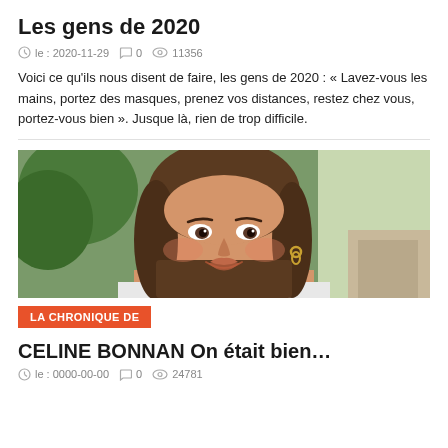Les gens de 2020
le : 2020-11-29   0   11356
Voici ce qu'ils nous disent de faire, les gens de 2020 : « Lavez-vous les mains, portez des masques, prenez vos distances, restez chez vous, portez-vous bien ». Jusque là, rien de trop difficile.
[Figure (photo): Close-up selfie photo of a smiling woman with brown hair and gold hoop earrings, outdoors with green foliage in background.]
LA CHRONIQUE DE
CELINE BONNAN On était bien…
le : 0000-00-00   0   24781